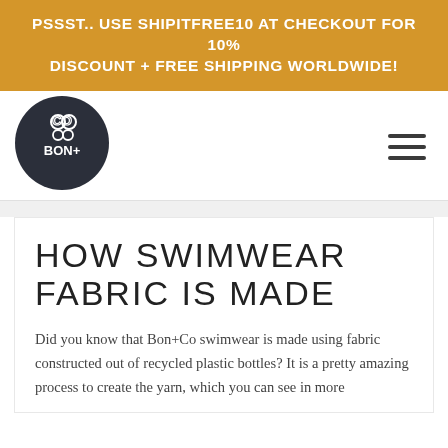PSSST.. USE SHIPITFREE10 AT CHECKOUT FOR 10% DISCOUNT + FREE SHIPPING WORLDWIDE!
[Figure (logo): Bon+Co circular dark navy logo with 'CO' and 'BON+' text inside a circle]
HOW SWIMWEAR FABRIC IS MADE
Did you know that Bon+Co swimwear is made using fabric constructed out of recycled plastic bottles? It is a pretty amazing process to create the yarn, which you can see in more